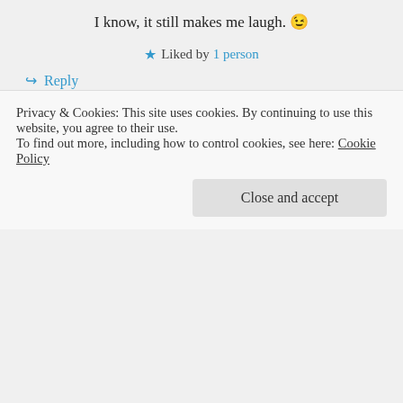I know, it still makes me laugh. 😉
★ Liked by 1 person
↪ Reply
First Night Design on January 30, 2018 at 7:40 pm
Me too. Always. 🙂
★ Like
Privacy & Cookies: This site uses cookies. By continuing to use this website, you agree to their use.
To find out more, including how to control cookies, see here: Cookie Policy
Close and accept
🙂